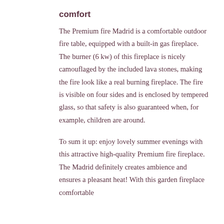comfort
The Premium fire Madrid is a comfortable outdoor fire table, equipped with a built-in gas fireplace. The burner (6 kw) of this fireplace is nicely camouflaged by the included lava stones, making the fire look like a real burning fireplace. The fire is visible on four sides and is enclosed by tempered glass, so that safety is also guaranteed when, for example, children are around.
To sum it up: enjoy lovely summer evenings with this attractive high-quality Premium fire fireplace. The Madrid definitely creates ambience and ensures a pleasant heat! With this garden fireplace comfortable